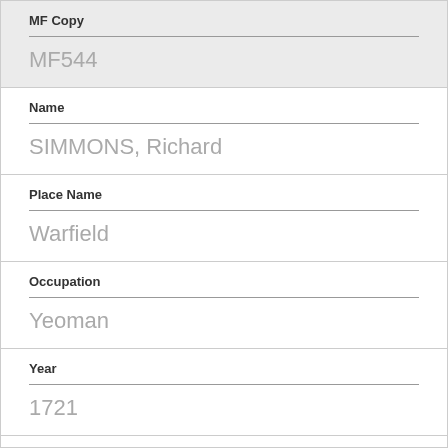MF Copy
MF544
Name
SIMMONS, Richard
Place Name
Warfield
Occupation
Yeoman
Year
1721
BRO Ref
D/A1/123/87